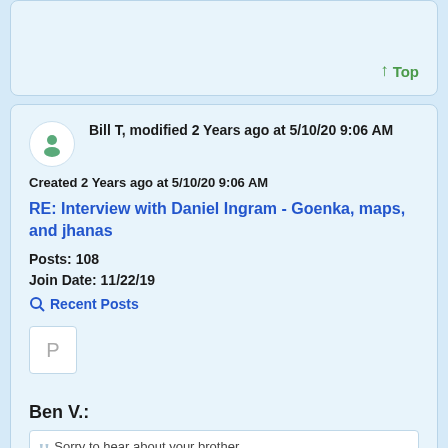↑ Top
Bill T, modified 2 Years ago at 5/10/20 9:06 AM
Created 2 Years ago at 5/10/20 9:06 AM
RE: Interview with Daniel Ingram - Goenka, maps, and jhanas
Posts: 108
Join Date: 11/22/19
Recent Posts
Ben V.:
Sorry to hear about your brother